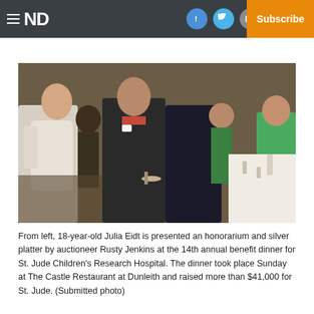ND | Log In | Subscribe
[Figure (photo): Group of people at a dinner event; a man in a dark suit is presenting an honorarium and silver platter to a young woman in a white dress, with other guests applauding in the background at what appears to be an indoor restaurant setting.]
From left, 18-year-old Julia Eidt is presented an honorarium and silver platter by auctioneer Rusty Jenkins at the 14th annual benefit dinner for St. Jude Children's Research Hospital. The dinner took place Sunday at The Castle Restaurant at Dunleith and raised more than $41,000 for St. Jude. (Submitted photo)